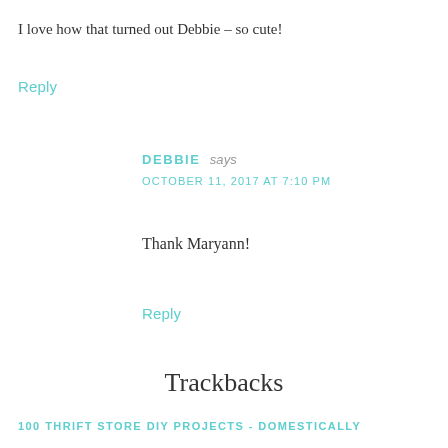I love how that turned out Debbie – so cute!
Reply
DEBBIE says
OCTOBER 11, 2017 AT 7:10 PM
Thank Maryann!
Reply
Trackbacks
100 THRIFT STORE DIY PROJECTS - DOMESTICALLY